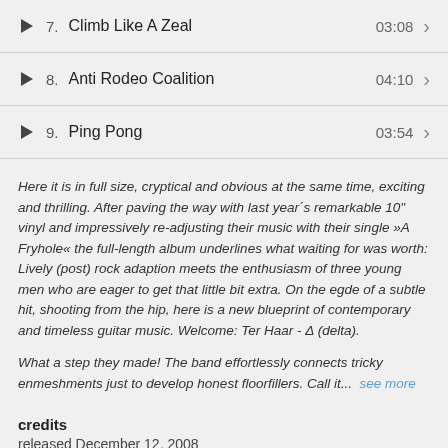7. Climb Like A Zeal 03:08
8. Anti Rodeo Coalition 04:10
9. Ping Pong 03:54
Here it is in full size, cryptical and obvious at the same time, exciting and thrilling. After paving the way with last year´s remarkable 10" vinyl and impressively re-adjusting their music with their single »A Fryhole« the full-length album underlines what waiting for was worth: Lively (post) rock adaption meets the enthusiasm of three young men who are eager to get that little bit extra. On the egde of a subtle hit, shooting from the hip, here is a new blueprint of contemporary and timeless guitar music. Welcome: Ter Haar - Δ (delta).
What a step they made! The band effortlessly connects tricky enmeshments just to develop honest floorfillers. Call it...  see more
credits
released December 12, 2008
supported by
michl